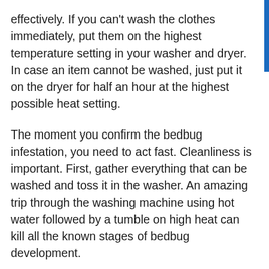effectively. If you can't wash the clothes immediately, put them on the highest temperature setting in your washer and dryer. In case an item cannot be washed, just put it on the dryer for half an hour at the highest possible heat setting.
The moment you confirm the bedbug infestation, you need to act fast. Cleanliness is important. First, gather everything that can be washed and toss it in the washer. An amazing trip through the washing machine using hot water followed by a tumble on high heat can kill all the known stages of bedbug development.
Well, some items such as upholstery and rugs cannot be tossed in the washer. Consider vacuuming every surface and all crevices. It is also recommended to turn over all pieces of furniture to vacuum every surface to capture all the possible bugs and debris. During vacuuming, it is wise to